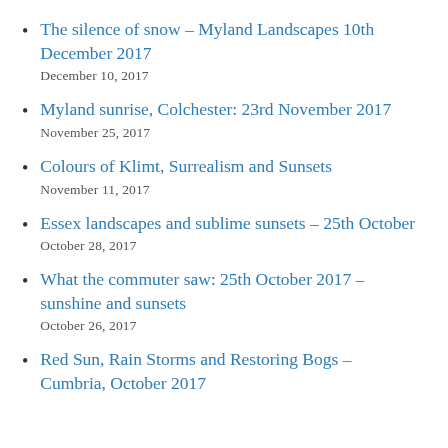The silence of snow – Myland Landscapes 10th December 2017
December 10, 2017
Myland sunrise, Colchester: 23rd November 2017
November 25, 2017
Colours of Klimt, Surrealism and Sunsets
November 11, 2017
Essex landscapes and sublime sunsets – 25th October
October 28, 2017
What the commuter saw: 25th October 2017 – sunshine and sunsets
October 26, 2017
Red Sun, Rain Storms and Restoring Bogs – Cumbria, October 2017